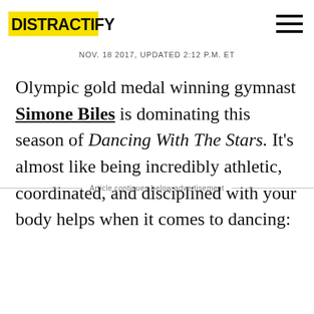DISTRACTIFY
NOV. 18 2017, UPDATED 2:12 P.M. ET
Olympic gold medal winning gymnast Simone Biles is dominating this season of Dancing With The Stars. It's almost like being incredibly athletic, coordinated, and disciplined with your body helps when it comes to dancing:
Article continues below advertisement